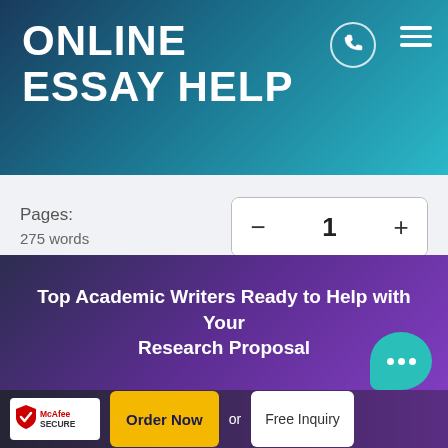ONLINE ESSAY HELP
Pages:
275 words
1
Total price: $38
Continue to order
Top Academic Writers Ready to Help with Your Research Proposal
[Figure (logo): McAfee SECURE badge with shield logo]
Order Now
or
Free Inquiry